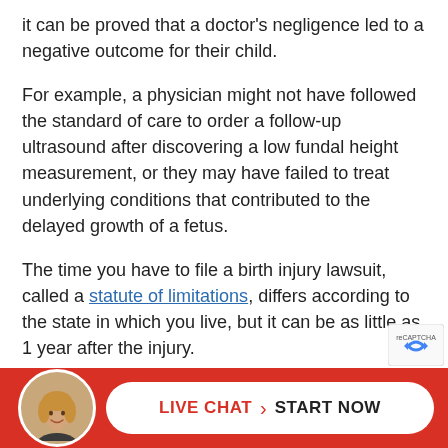it can be proved that a doctor's negligence led to a negative outcome for their child.
For example, a physician might not have followed the standard of care to order a follow-up ultrasound after discovering a low fundal height measurement, or they may have failed to treat underlying conditions that contributed to the delayed growth of a fetus.
The time you have to file a birth injury lawsuit, called a statute of limitations, differs according to the state in which you live, but it can be as little as 1 year after the injury.
It's imp t to...
[Figure (other): Live chat widget at bottom of page with circular avatar photo of a woman with blonde hair, red background bar, and a white pill-shaped button reading 'LIVE CHAT > START NOW']